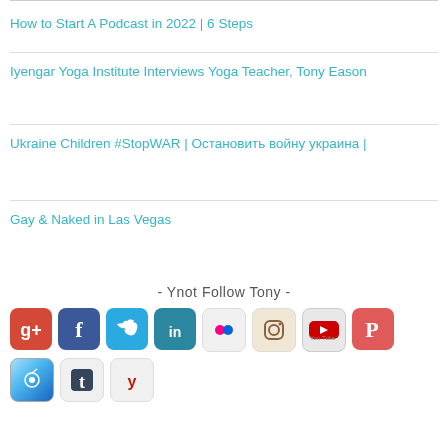How to Start A Podcast in 2022 | 6 Steps
Iyengar Yoga Institute Interviews Yoga Teacher, Tony Eason
Ukraine Children #StopWAR | Остановить войну украина |
Gay & Naked in Las Vegas
- Ynot Follow Tony -
[Figure (infographic): Row of social media icon buttons: Google+, Facebook, Twitter, LinkedIn, Flickr, Instagram, YouTube, Pinterest, iTunes, Tumblr, Yelp]